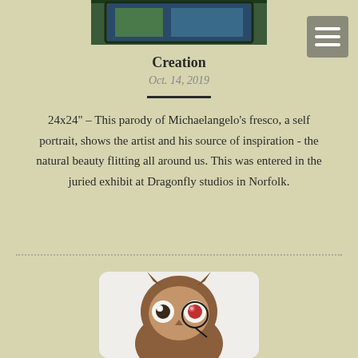[Figure (photo): Top portion of a painting visible at the top of the page, partially cropped]
[Figure (screenshot): Hamburger menu button (three horizontal white lines on gray/olive background) in upper right corner]
Creation
Oct. 14, 2019
24x24" – This parody of Michaelangelo's fresco, a self portrait, shows the artist and his source of inspiration - the natural beauty flitting all around us. This was entered in the juried exhibit at Dragonfly studios in Norfolk.
[Figure (photo): Bottom portion of an owl sculpture or artwork, partially cropped, showing the owl's face with distinctive eyes, on a white/light background with rounded corners]